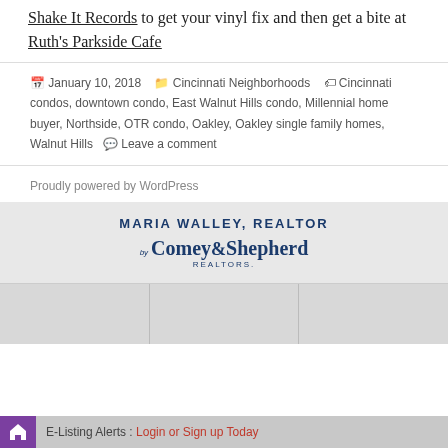Shake It Records to get your vinyl fix and then get a bite at Ruth's Parkside Cafe
January 10, 2018  Cincinnati Neighborhoods  Cincinnati condos, downtown condo, East Walnut Hills condo, Millennial home buyer, Northside, OTR condo, Oakley, Oakley single family homes, Walnut Hills  Leave a comment
Proudly powered by WordPress
[Figure (logo): Maria Walley Realtor by Comey & Shepherd Realtors logo]
E-Listing Alerts : Login or Sign up Today